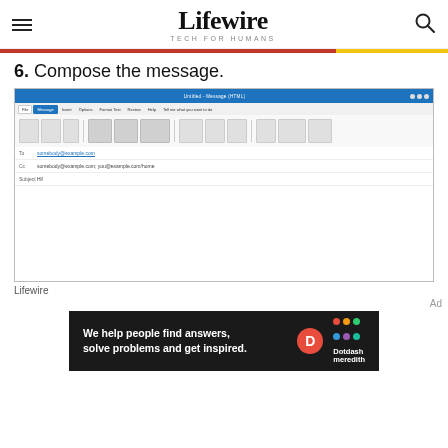Lifewire — TECH FOR HUMANS
6. Compose the message.
[Figure (screenshot): Microsoft Outlook compose message window showing ribbon toolbar, To/CC/Subject fields, and empty email body]
Lifewire
[Figure (infographic): Dotdash Meredith ad banner: We help people find answers, solve problems and get inspired.]